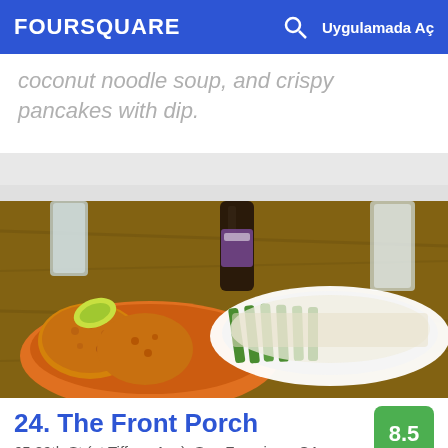FOURSQUARE  Uygulamada Aç
coconut noodle soup, and crispy pancakes with dip.
[Figure (photo): Restaurant table photo showing fried corn pieces in an orange bowl with a lime wedge, and a white oval dish containing asparagus covered with grated cheese, bottles and glasses in background.]
24. The Front Porch
8.5
65 29th St (at Tiffany Ave), San Francisco, CA
Amerikan Güneyli Yemeği Restoranı · Bernal Heights · 143 tavsiye ve inceleme
Bridget Gael: Loved this spot, low key funk vibes with interesting